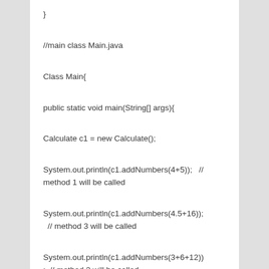}
//main class Main.java
Class Main{
public static void main(String[] args){
Calculate c1 = new Calculate();
System.out.println(c1.addNumbers(4+5));   // method 1 will be called
System.out.println(c1.addNumbers(4.5+16));  // method 3 will be called
System.out.println(c1.addNumbers(3+6+12));  // method 2 will be called
}